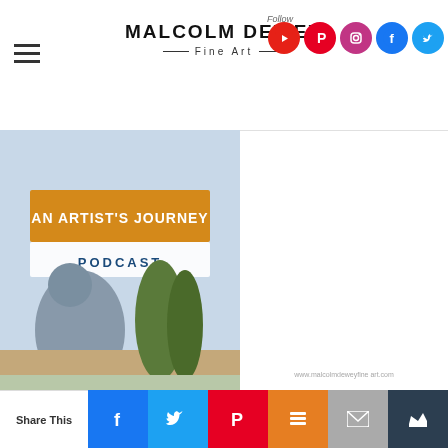Malcolm Dewey Fine Art — Follow — social icons: YouTube, Pinterest, Instagram, Facebook, Twitter
[Figure (illustration): An Artist's Journey Podcast cover image showing an artist painting outdoors with a golden banner reading 'AN ARTIST'S JOURNEY' and 'PODCAST' below]
[Figure (illustration): How to Paint Wet Sand & Beach Colors book/guide cover showing two children sitting on a beach with text 'How to Paint WET SAND & BEACH COLORS']
Recommended for you
How to Paint Stu...
Share This — Facebook — Twitter — Pinterest — Buffer — Email — Monarchy